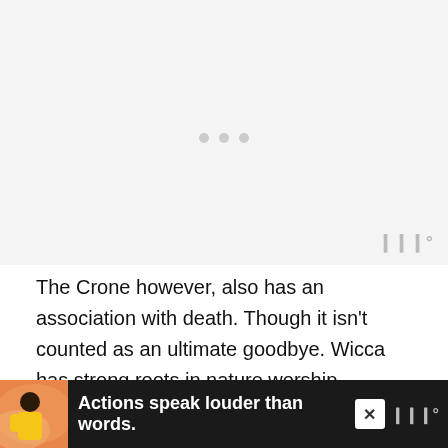[Figure (screenshot): Video player placeholder with light gray background, three gray dots in center, and Wurl logo watermark in bottom right corner]
The Crone however, also has an association with death. Though it isn't counted as an ultimate goodbye. Wicca has strong roots in nature worship, believing in the same rebirth after death. In spring, She will be reborn again as the Maiden.
[Figure (screenshot): Advertisement banner with dark background showing a person in yellow shirt on pink/orange illustrated background with text 'Actions speak louder than words.' and a close button]